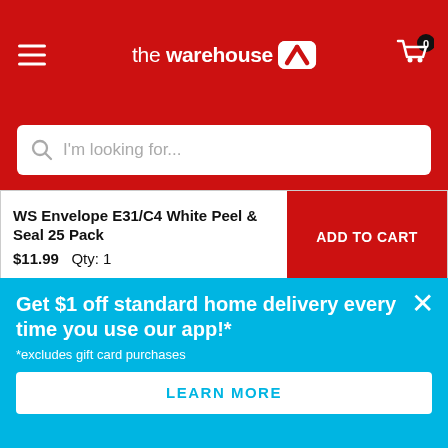the warehouse
I'm looking for...
WS Envelope E31/C4 White Peel & Seal 25 Pack
$11.99   Qty: 1
ADD TO CART
[Figure (photo): Product image showing C4 (E31) envelope box with Impact brand logo badge (black circle) and green strip at bottom]
Get $1 off standard home delivery every time you use our app!*
*excludes gift card purchases
LEARN MORE